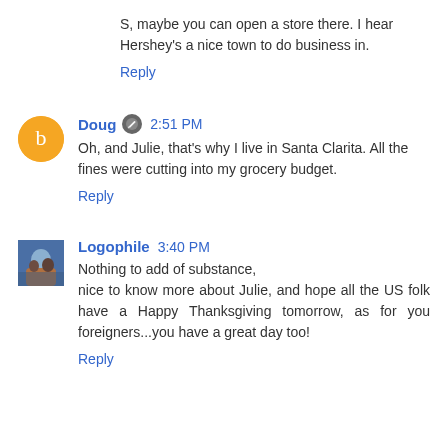S, maybe you can open a store there. I hear Hershey's a nice town to do business in.
Reply
Doug  2:51 PM
Oh, and Julie, that's why I live in Santa Clarita. All the fines were cutting into my grocery budget.
Reply
Logophile  3:40 PM
Nothing to add of substance,
nice to know more about Julie, and hope all the US folk have a Happy Thanksgiving tomorrow, as for you foreigners...you have a great day too!
Reply